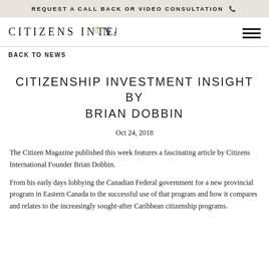REQUEST A CALL BACK OR VIDEO CONSULTATION 📞
[Figure (logo): Citizens International logo with compass rose emblem in the letter O]
BACK TO NEWS
CITIZENSHIP INVESTMENT INSIGHT BY BRIAN DOBBIN
Oct 24, 2018
The Citizen Magazine published this week features a fascinating article by Citizens International Founder Brian Dobbin.
From his early days lobbying the Canadian Federal government for a new provincial program in Eastern Canada to the successful use of that program and how it compares and relates to the increasingly sought-after Caribbean citizenship programs.